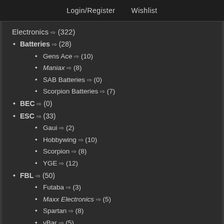Login/Register   Wishlist
Electronics ⇨ (322)
Batteries ⇨ (28)
Gens Ace ⇨ (10)
Maniax ⇨ (8)
SAB Batteries ⇨ (0)
Scorpion Batteries ⇨ (7)
BEC ⇨ (0)
ESC ⇨ (33)
Gaui ⇨ (2)
Hobbywing ⇨ (10)
Scorpion ⇨ (8)
YGE ⇨ (12)
FBL ⇨ (50)
Futaba ⇨ (3)
Maxx Electronics ⇨ (5)
Spartan ⇨ (8)
vBar ⇨ (5)